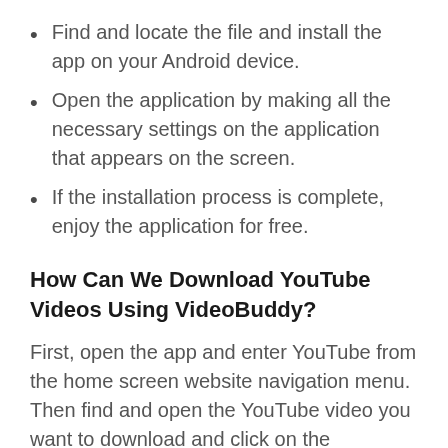Find and locate the file and install the app on your Android device.
Open the application by making all the necessary settings on the application that appears on the screen.
If the installation process is complete, enjoy the application for free.
How Can We Download YouTube Videos Using VideoBuddy?
First, open the app and enter YouTube from the home screen website navigation menu.
Then find and open the YouTube video you want to download and click on the download icon to download the video.